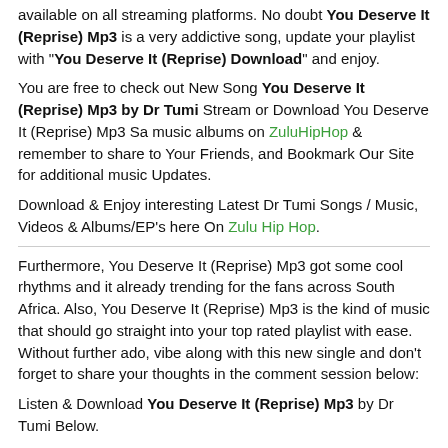available on all streaming platforms. No doubt You Deserve It (Reprise) Mp3 is a very addictive song, update your playlist with "You Deserve It (Reprise) Download" and enjoy.
You are free to check out New Song You Deserve It (Reprise) Mp3 by Dr Tumi Stream or Download You Deserve It (Reprise) Mp3 Sa music albums on ZuluHipHop & remember to share to Your Friends, and Bookmark Our Site for additional music Updates.
Download & Enjoy interesting Latest Dr Tumi Songs / Music, Videos & Albums/EP's here On Zulu Hip Hop.
Furthermore, You Deserve It (Reprise) Mp3 got some cool rhythms and it already trending for the fans across South Africa. Also, You Deserve It (Reprise) Mp3 is the kind of music that should go straight into your top rated playlist with ease. Without further ado, vibe along with this new single and don't forget to share your thoughts in the comment session below:
Listen & Download You Deserve It (Reprise) Mp3 by Dr Tumi Below.
Download Audio
[Figure (other): Audio player widget with play button, 00:00 timestamp, progress bar, and 00:00 end time on dark background]
[Figure (other): Blue DOWNLOAD NOW button]